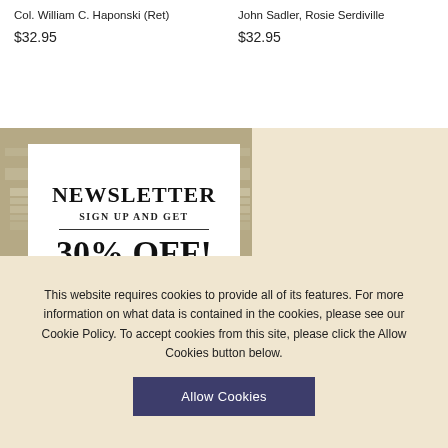Col. William C. Haponski (Ret)
John Sadler, Rosie Serdiville
$32.95
$32.95
[Figure (illustration): Newsletter signup banner showing stacked books in the background with a white card overlay reading NEWSLETTER / SIGN UP AND GET / 30% OFF!]
This website requires cookies to provide all of its features. For more information on what data is contained in the cookies, please see our Cookie Policy. To accept cookies from this site, please click the Allow Cookies button below.